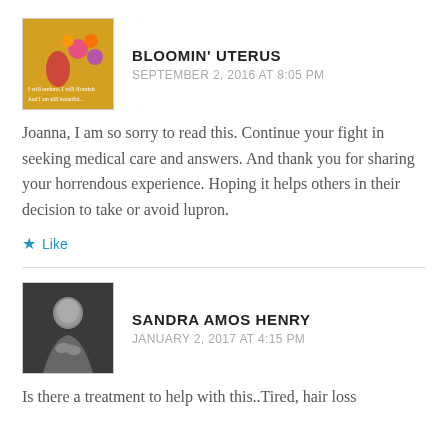[Figure (illustration): Colorful illustrated avatar for Bloomin Uterus blog with yellow background, flowers and text]
BLOOMIN' UTERUS
SEPTEMBER 2, 2016 AT 8:05 PM
Joanna, I am so sorry to read this. Continue your fight in seeking medical care and answers. And thank you for sharing your horrendous experience. Hoping it helps others in their decision to take or avoid lupron.
★ Like
[Figure (photo): Black and white photo of a person in dark clothing]
SANDRA AMOS HENRY
JANUARY 2, 2017 AT 4:15 PM
Is there a treatment to help with this..Tired, hair loss